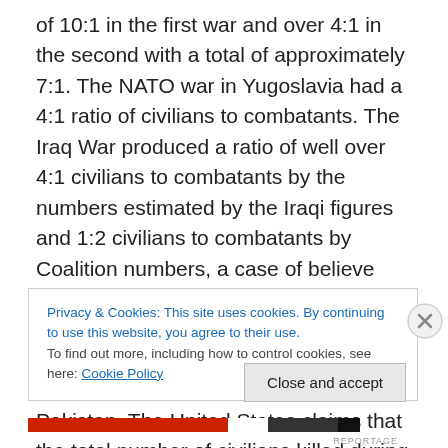of 10:1 in the first war and over 4:1 in the second with a total of approximately 7:1. The NATO war in Yugoslavia had a 4:1 ratio of civilians to combatants. The Iraq War produced a ratio of well over 4:1 civilians to combatants by the numbers estimated by the Iraqi figures and 1:2 civilians to combatants by Coalition numbers, a case of believe whomever you like. The winner for most contested numbers as well as estimated worst numbers was the totality of the drone warfare by the United States in Pakistan. The United States claims that the total number of civilians killed during the past two years was a total of
Privacy & Cookies: This site uses cookies. By continuing to use this website, you agree to their use.
To find out more, including how to control cookies, see here: Cookie Policy
Close and accept